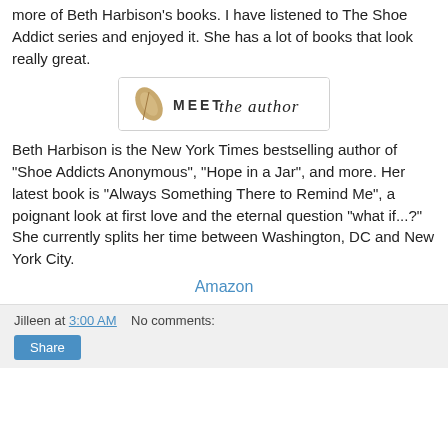more of Beth Harbison's books. I have listened to The Shoe Addict series and enjoyed it. She has a lot of books that look really great.
[Figure (logo): Meet the Author banner image with a feather quill and stylized text reading 'MEET the author']
Beth Harbison is the New York Times bestselling author of "Shoe Addicts Anonymous", "Hope in a Jar", and more. Her latest book is "Always Something There to Remind Me", a poignant look at first love and the eternal question "what if...?" She currently splits her time between Washington, DC and New York City.
Amazon
Jilleen at 3:00 AM   No comments:   Share